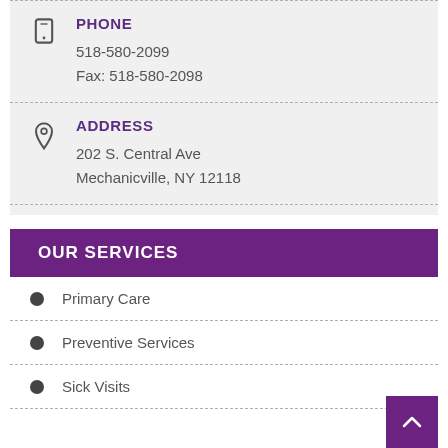PHONE
518-580-2099
Fax: 518-580-2098
ADDRESS
202 S. Central Ave
Mechanicville, NY 12118
OUR SERVICES
Primary Care
Preventive Services
Sick Visits